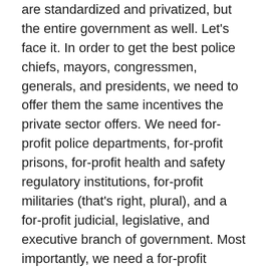are standardized and privatized, but the entire government as well. Let's face it. In order to get the best police chiefs, mayors, congressmen, generals, and presidents, we need to offer them the same incentives the private sector offers. We need for-profit police departments, for-profit prisons, for-profit health and safety regulatory institutions, for-profit militaries (that's right, plural), and a for-profit judicial, legislative, and executive branch of government. Most importantly, we need a for-profit accountability department that meticulously scrutinizes everyone's performance to ensure maximum productivity.
In a perfect world, I'd like to see students and parents held to the same standards as teachers. If a student fails their standardized tests, then we should cut to the chase and send them, their parents, and their teachers straight past the poor house to the prison sweatshops. If they fail to